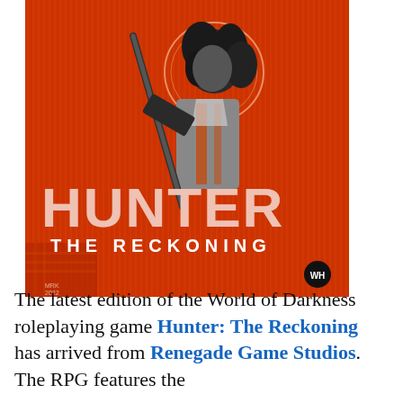[Figure (illustration): Book cover of Hunter: The Reckoning. A woman with curly hair in profile view holds an assault rifle over her shoulder. The background is vivid orange with circuit-like patterns. The title HUNTER appears in large distressed white letters, with THE RECKONING below it. A small Renegade Game Studios logo (WH) appears in the lower right.]
The latest edition of the World of Darkness roleplaying game Hunter: The Reckoning has arrived from Renegade Game Studios. The RPG features the